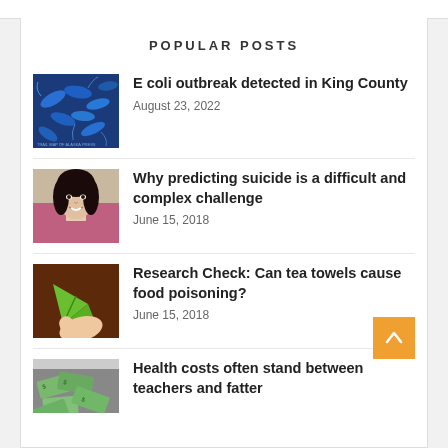POPULAR POSTS
[Figure (photo): Microscopic image of blue E. coli bacteria]
E coli outbreak detected in King County
August 23, 2022
[Figure (photo): Portrait photo of a woman with dark hair smiling]
Why predicting suicide is a difficult and complex challenge
June 15, 2018
[Figure (illustration): Illustration of a hand holding a green leaf against brown background]
Research Check: Can tea towels cause food poisoning?
June 15, 2018
[Figure (photo): Photo of scattered US dollar bills]
Health costs often stand between teachers and fatter